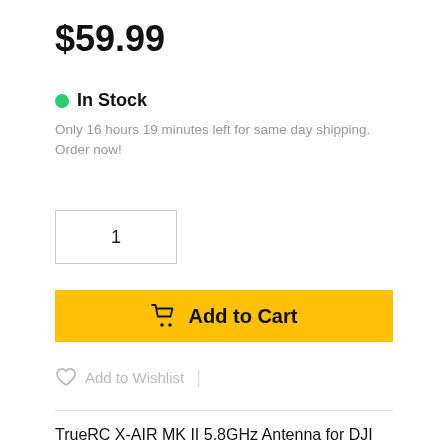$59.99
In Stock
Only 16 hours 19 minutes left for same day shipping. Order now!
1
Add to Cart
Add to Wishlist
TrueRC X-AIR MK II 5.8GHz Antenna for DJI FPV (LHCP)
The TrueRC X-AIR MK II 5.8GHz Antenna for DJI FPV is a redesign of the previous predecessor